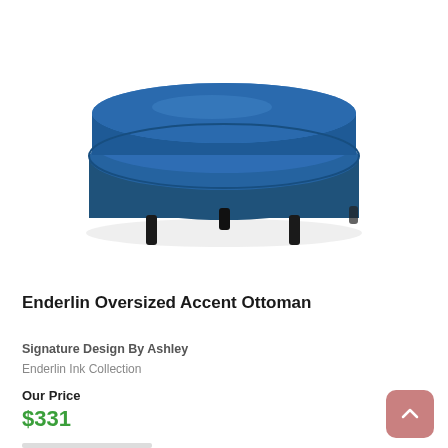[Figure (photo): A round navy blue upholstered ottoman with black legs, photographed on a white background.]
Enderlin Oversized Accent Ottoman
Signature Design By Ashley
Enderlin Ink Collection
Our Price
$331